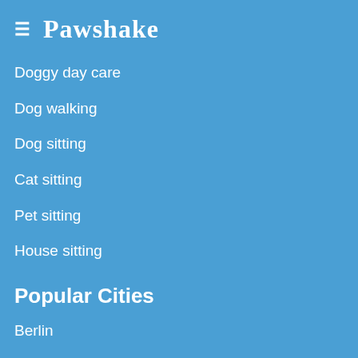≡ Pawshake
Doggy day care
Dog walking
Dog sitting
Cat sitting
Pet sitting
House sitting
Popular Cities
Berlin